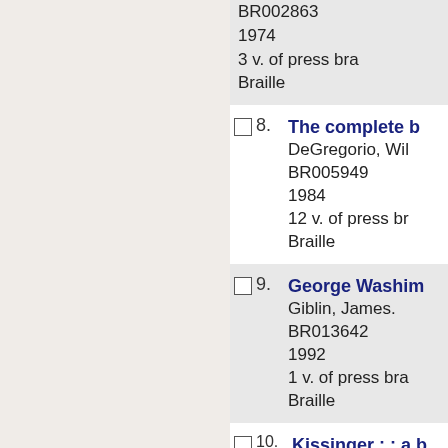BR002863
1974
3 v. of press bra
Braille
8. The complete b
DeGregorio, Wil
BR005949
1984
12 v. of press br
Braille
9. George Washim
Giblin, James.
BR013642
1992
1 v. of press bra
Braille
10. Kissinger : : a b
Isaacson, Walte
BR009272